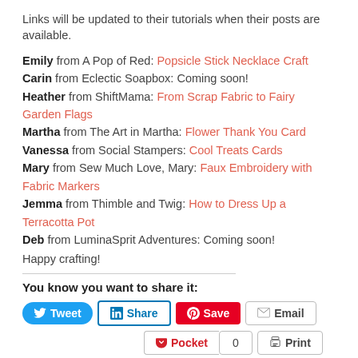Links will be updated to their tutorials when their posts are available.
Emily from A Pop of Red: Popsicle Stick Necklace Craft
Carin from Eclectic Soapbox: Coming soon!
Heather from ShiftMama: From Scrap Fabric to Fairy Garden Flags
Martha from The Art in Martha: Flower Thank You Card
Vanessa from Social Stampers: Cool Treats Cards
Mary from Sew Much Love, Mary: Faux Embroidery with Fabric Markers
Jemma from Thimble and Twig: How to Dress Up a Terracotta Pot
Deb from LuminaSprit Adventures: Coming soon!
Happy crafting!
You know you want to share it: